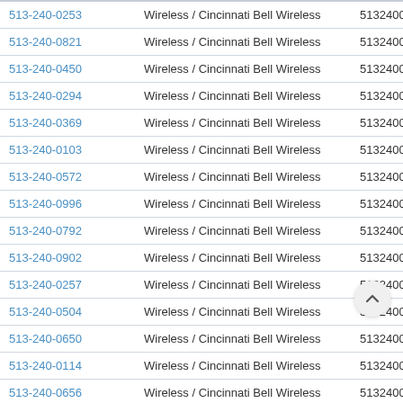| Phone | Type | Number |  |
| --- | --- | --- | --- |
| 513-240-0253 | Wireless / Cincinnati Bell Wireless | 5132400253 | V |
| 513-240-0821 | Wireless / Cincinnati Bell Wireless | 5132400821 | V |
| 513-240-0450 | Wireless / Cincinnati Bell Wireless | 5132400450 | V |
| 513-240-0294 | Wireless / Cincinnati Bell Wireless | 5132400294 | V |
| 513-240-0369 | Wireless / Cincinnati Bell Wireless | 5132400369 | V |
| 513-240-0103 | Wireless / Cincinnati Bell Wireless | 5132400103 | V |
| 513-240-0572 | Wireless / Cincinnati Bell Wireless | 5132400572 | V |
| 513-240-0996 | Wireless / Cincinnati Bell Wireless | 5132400996 | V |
| 513-240-0792 | Wireless / Cincinnati Bell Wireless | 5132400792 | V |
| 513-240-0902 | Wireless / Cincinnati Bell Wireless | 5132400902 | V |
| 513-240-0257 | Wireless / Cincinnati Bell Wireless | 5132400257 | V |
| 513-240-0504 | Wireless / Cincinnati Bell Wireless | 5132400504 | V |
| 513-240-0650 | Wireless / Cincinnati Bell Wireless | 5132400650 | V |
| 513-240-0114 | Wireless / Cincinnati Bell Wireless | 5132400114 | V |
| 513-240-0656 | Wireless / Cincinnati Bell Wireless | 5132400656 | V |
| 513-240-0335 | Wireless / Cincinnati Bell Wireless | 5132400335 | V |
| 513-240-0048 | Wireless / Cincinnati Bell Wireless | 5132400048 | V |
| 513-240-0293 | Wireless / Cincinnati Bell Wireless | 5132400293 | V |